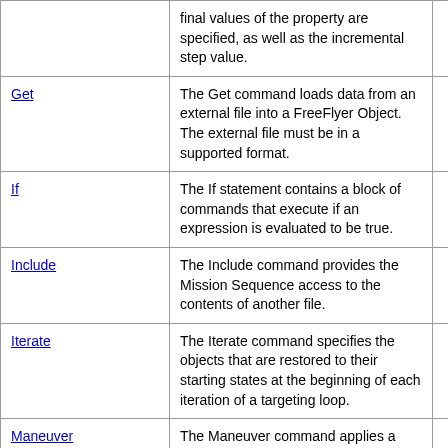| Command | Description |  |
| --- | --- | --- |
| (continuation) | final values of the property are specified, as well as the incremental step value. |  |
| Get | The Get command loads data from an external file into a FreeFlyer Object. The external file must be in a supported format. |  |
| If | The If statement contains a block of commands that execute if an expression is evaluated to be true. |  |
| Include | The Include command provides the Mission Sequence access to the contents of another file. |  |
| Iterate | The Iterate command specifies the objects that are restored to their starting states at the beginning of each iteration of a targeting loop. |  |
| Maneuver | The Maneuver command applies a burn to a Spacecraft, optionally generating a report. |  |
| Map | The Map command displays the specified objects on an equidistant-cylindrical map of the Earth in the 2D view mode of a Mission View. The Map command must contain at least one Spacecraft, which specifies the |  |